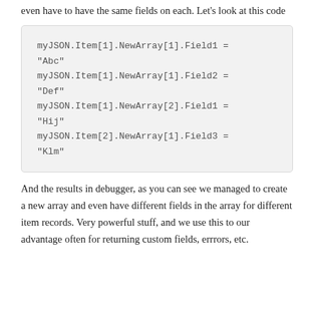even have to have the same fields on each. Let's look at this code
myJSON.Item[1].NewArray[1].Field1 = "Abc"
myJSON.Item[1].NewArray[1].Field2 = "Def"
myJSON.Item[1].NewArray[2].Field1 = "Hij"
myJSON.Item[2].NewArray[1].Field3 = "Klm"
And the results in debugger, as you can see we managed to create a new array and even have different fields in the array for different item records. Very powerful stuff, and we use this to our advantage often for returning custom fields, errrors, etc.